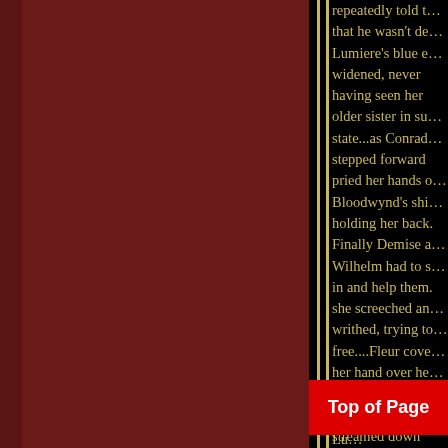[Figure (illustration): Decorative page layout with dark red panel on left side and vertical gold/black stripes separating it from the text column on the right.]
repeatedly told that he wasn't de... Lumiere's blue e... widened, never having seen her older sister in su... state...as Conrad stepped forward pried her hands o... Bloodwynd's shi... holding her back. Finally Demise a... Wilhelm had to s... in and help them. she screeched an... writhed, trying to free....Fleur cove... her hand over he... mouth to hold ba... cry, as tears streamed down ... The EMT that L... had slugged wa...
[Figure (other): Red 'Top of Page' button overlaid on the lower portion of the page.]